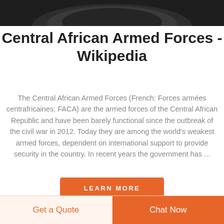[Figure (photo): Partial view of a dark military/uniform item, cropped at top of page]
Central African Armed Forces - Wikipedia
The Central African Armed Forces (French: Forces armées centrafricaines; FACA) are the armed forces of the Central African Republic and have been barely functional since the outbreak of the civil war in 2012. Today they are among the world's weakest armed forces, dependent on international support to provide security in the country. In recent years the government has ...
[Figure (other): LEARN MORE button - orange rectangular button with white uppercase text]
[Figure (other): Bottom bar with Get a Quote (light orange background) and Chat Now (orange background) buttons]